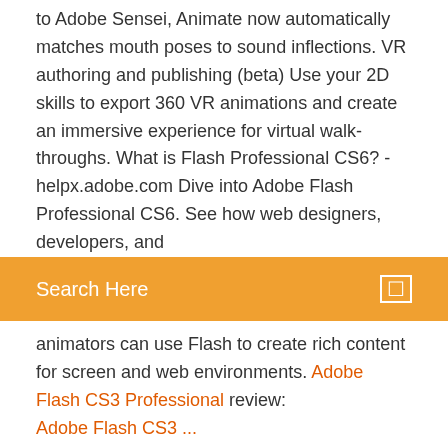to Adobe Sensei, Animate now automatically matches mouth poses to sound inflections. VR authoring and publishing (beta) Use your 2D skills to export 360 VR animations and create an immersive experience for virtual walk-throughs. What is Flash Professional CS6? - helpx.adobe.com Dive into Adobe Flash Professional CS6. See how web designers, developers, and
[Figure (screenshot): Orange search bar with 'Search Here' text and a small white search icon on the right]
animators can use Flash to create rich content for screen and web environments. Adobe Flash CS3 Professional review: Adobe Flash CS3 ...
Adobe Flash Professional CS6 Setup Download [Updated 2019]
https://permadi.com/2009/05/using-flvplayback-component-in-flash-cs3-professional/ https://www.google.com/search?num=100&q=what+is+adobe+flash+cs3+professional&tbm=isch&s https://www.totaljobs.com/course/adobe-flash-cs3-